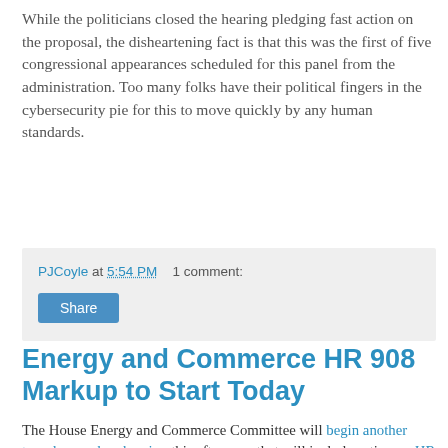While the politicians closed the hearing pledging fast action on the proposal, the disheartening fact is that this was the first of five congressional appearances scheduled for this panel from the administration. Too many folks have their political fingers in the cybersecurity pie for this to move quickly by any human standards.
PJCoyle at 5:54 PM    1 comment:  [Share button]
Energy and Commerce HR 908 Markup to Start Today
The House Energy and Commerce Committee will begin another two-day markup hearing this afternoon that will include action on HR 908, the Full Implementation of the Chemical Facility Anti-Terrorism Standards (CFATS) Act. As with the May 10th hearing that was to have included action on HR 908, this afternoon's meeting will only be for making